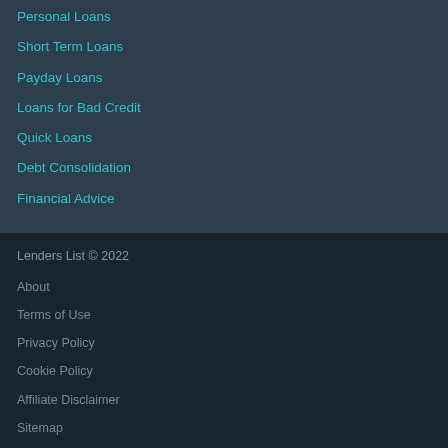Personal Loans
Short Term Loans
Payday Loans
Loans for Bad Credit
Quick Loans
Debt Consolidation
Financial Advice
Lenders List © 2022
About
Terms of Use
Privacy Policy
Cookie Policy
Affiliate Disclaimer
Sitemap